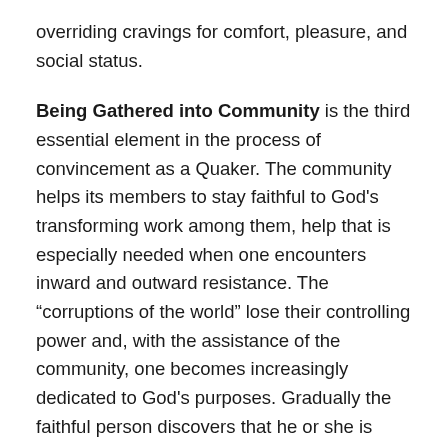overriding cravings for comfort, pleasure, and social status.
Being Gathered into Community is the third essential element in the process of convincement as a Quaker. The community helps its members to stay faithful to God’s transforming work among them, help that is especially needed when one encounters inward and outward resistance. The “corruptions of the world” lose their controlling power and, with the assistance of the community, one becomes increasingly dedicated to God’s purposes. Gradually the faithful person discovers that he or she is bonded with the community in deep, spiritual ways, no longer a separate being but part of the body of Christ.
The divine presence within provides guidance about how